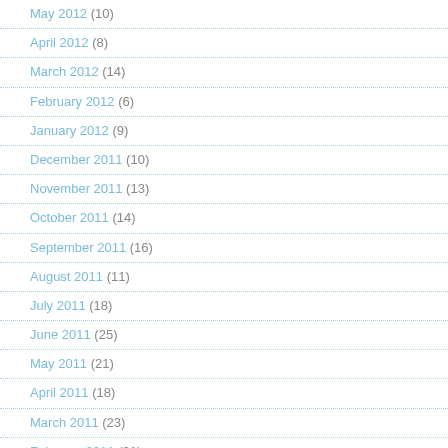May 2012 (10)
April 2012 (8)
March 2012 (14)
February 2012 (6)
January 2012 (9)
December 2011 (10)
November 2011 (13)
October 2011 (14)
September 2011 (16)
August 2011 (11)
July 2011 (18)
June 2011 (25)
May 2011 (21)
April 2011 (18)
March 2011 (23)
February 2011 (21)
January 2011 (25)
December 2010 (22)
November 2010 (23)
October 2010 (15)